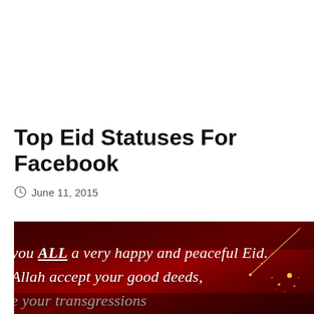Top Eid Statuses For Facebook
June 11, 2015
[Figure (photo): Dark red/maroon background image with white italic calligraphic text reading partial lines: 'you ALL a very happy and peaceful Eid. / Allah accept your good deeds, / e your transgressions / se the suffering of all peoples around the globe'. Decorative shooting star and gold sparkle dots on the right side.]